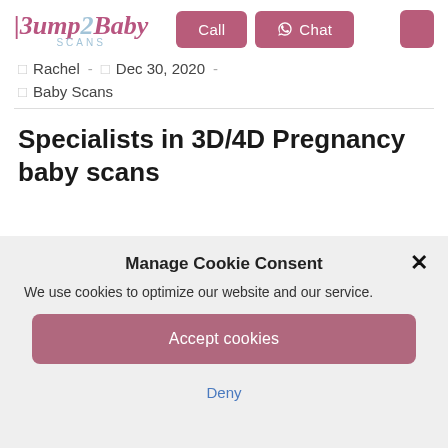[Figure (logo): Bump2Baby Scans logo with stylized italic text in pink/blue and 'SCANS' subtitle]
Rachel - Dec 30, 2020 -
Baby Scans
Specialists in 3D/4D Pregnancy baby scans
Manage Cookie Consent
We use cookies to optimize our website and our service.
Accept cookies
Deny